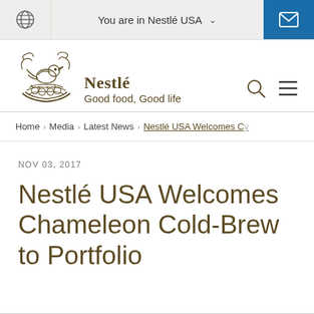You are in Nestlé USA
[Figure (logo): Nestlé bird's nest logo with tagline 'Good food, Good life']
Home > Media > Latest News > Nestlé USA Welcomes C...
NOV 03, 2017
Nestlé USA Welcomes Chameleon Cold-Brew to Portfolio